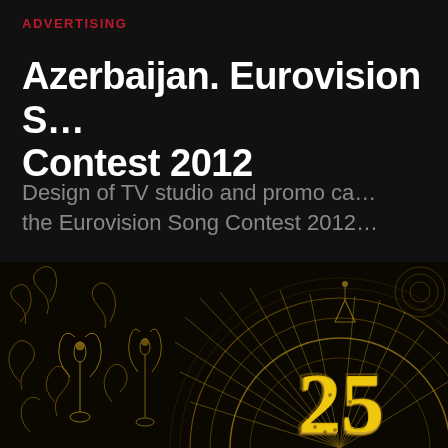ADVERTISING
Azerbaijan. Eurovision Song Contest 2012
Design of TV studio and promo campaign for the Eurovision Song Contest 2012
[Figure (photo): Dark ornate decorative background with golden art nouveau patterns and a large golden '25' numeral in the center-right, surrounded by radiating circular geometric designs and decorative candelabra motifs on black background]